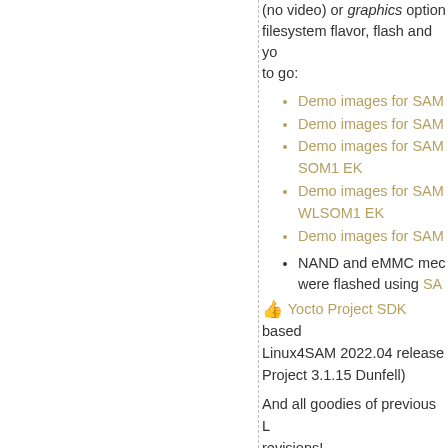(no video) or graphics option filesystem flavor, flash and you to go:
Demo images for SAM
Demo images for SAM
Demo images for SAM SOM1 EK
Demo images for SAM WLSOM1 EK
Demo images for SAM
NAND and eMMC media were flashed using SA
👍 Yocto Project SDK based Linux4SAM 2022.04 release Yocto Project 3.1.15 Dunfell)
And all goodies of previous L revisions!
Linux4SAM 2021. demo directory
👍 New demo available for S SOM1 EK, SAMA5D27 WLS